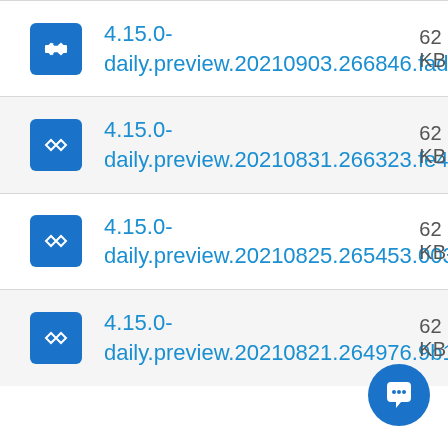4.15.0-daily.preview.20210903.266846.fadccd1
4.15.0-daily.preview.20210831.266323.fe483b1
4.15.0-daily.preview.20210825.265453.003fbc1
4.15.0-daily.preview.20210821.264976.9b11e7b